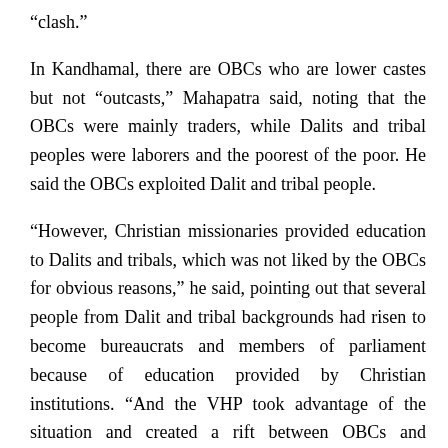“clash.”
In Kandhamal, there are OBCs who are lower castes but not “outcasts,” Mahapatra said, noting that the OBCs were mainly traders, while Dalits and tribal peoples were laborers and the poorest of the poor. He said the OBCs exploited Dalit and tribal people.
“However, Christian missionaries provided education to Dalits and tribals, which was not liked by the OBCs for obvious reasons,” he said, pointing out that several people from Dalit and tribal backgrounds had risen to become bureaucrats and members of parliament because of education provided by Christian institutions. “And the VHP took advantage of the situation and created a rift between OBCs and Christian missionaries.”
Mahapatra said that locals’ tolerance for Christian converts